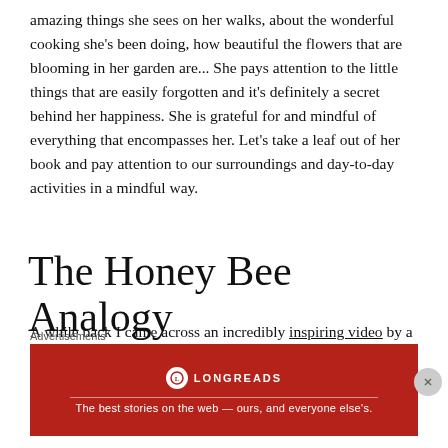amazing things she sees on her walks, about the wonderful cooking she's been doing, how beautiful the flowers that are blooming in her garden are... She pays attention to the little things that are easily forgotten and it's definitely a secret behind her happiness. She is grateful for and mindful of everything that encompasses her. Let's take a leaf out of her book and pay attention to our surroundings and day-to-day activities in a mindful way.
The Honey Bee Analogy
A while back I came across an incredibly inspiring video by a guru called Radhanath Swami. It's about the honey bee
Advertisements
[Figure (other): Longreads advertisement banner — red background, Longreads logo and tagline: The best stories on the web — ours, and everyone else's.]